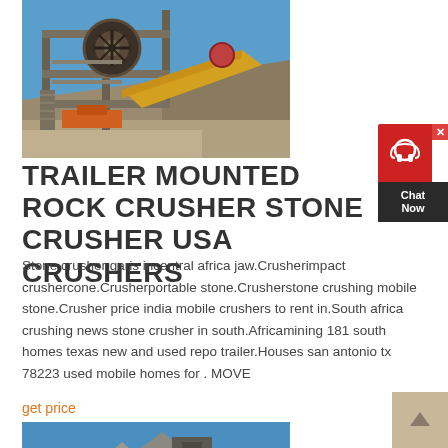[Figure (photo): Industrial rock crusher / stone crushing machine mounted on a structure at a quarry site, with blue sky and rocky hillside in the background.]
TRAILER MOUNTED ROCK CRUSHER STONE CRUSHER USA CRUSHERS
Stone crusher garis incentral africa jaw.Crusherimpact crushercone.Crusherportable stone.Crusherstone crushing mobile stone.Crusher price india mobile crushers to rent in.South africa crushing news stone crusher in south.Africamining 181 south homes texas new and used repo trailer.Houses san antonio tx 78223 used mobile homes for . MOVE
get price
[Figure (photo): Rock crusher or mining equipment against a blue sky with rocky terrain visible.]